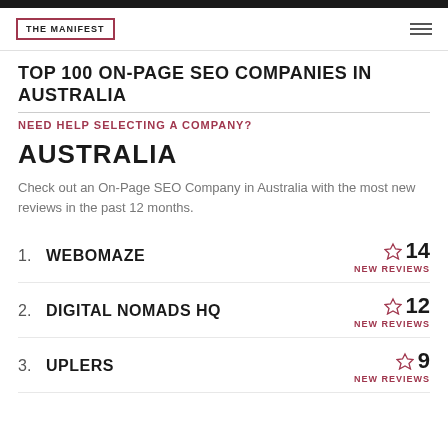THE MANIFEST
TOP 100 ON-PAGE SEO COMPANIES IN AUSTRALIA
NEED HELP SELECTING A COMPANY?
AUSTRALIA
Check out an On-Page SEO Company in Australia with the most new reviews in the past 12 months.
1. WEBOMAZE — 14 NEW REVIEWS
2. DIGITAL NOMADS HQ — 12 NEW REVIEWS
3. UPLERS — 9 NEW REVIEWS